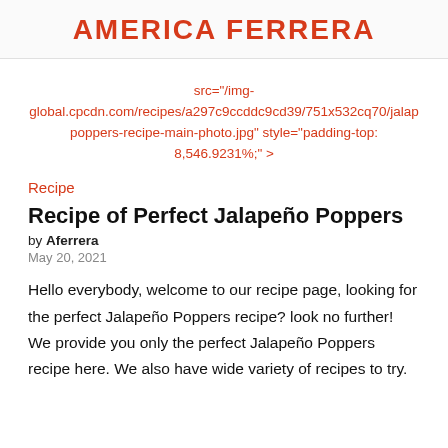AMERICA FERRERA
src="/img-global.cpcdn.com/recipes/a297c9ccddc9cd39/751x532cq70/jalapoppers-recipe-main-photo.jpg" style="padding-top: 8,546.9231%;">
Recipe
Recipe of Perfect Jalapeño Poppers
by Aferrera
May 20, 2021
Hello everybody, welcome to our recipe page, looking for the perfect Jalapeño Poppers recipe? look no further! We provide you only the perfect Jalapeño Poppers recipe here. We also have wide variety of recipes to try.